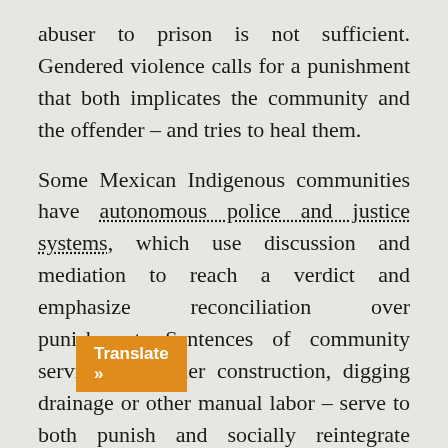abuser to prison is not sufficient. Gendered violence calls for a punishment that both implicates the community and the offender – and tries to heal them.
Some Mexican Indigenous communities have autonomous police and justice systems, which use discussion and mediation to reach a verdict and emphasize reconciliation over punishment. Sentences of community service – whether construction, digging drainage or other manual labor – serve to both punish and socially reintegrate offenders. Terms range from a few weeks for simple theft to eight years for murder.
Stopping gendered violence in Latin America, the [ere] will be a complicated, long-term [...]